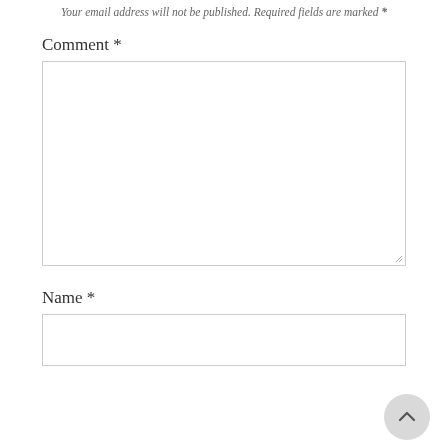Your email address will not be published. Required fields are marked *
Comment *
[Figure (other): Empty comment textarea input box with resize handle]
Name *
[Figure (other): Empty name text input box]
[Figure (other): Back to top circular button with upward chevron arrow]